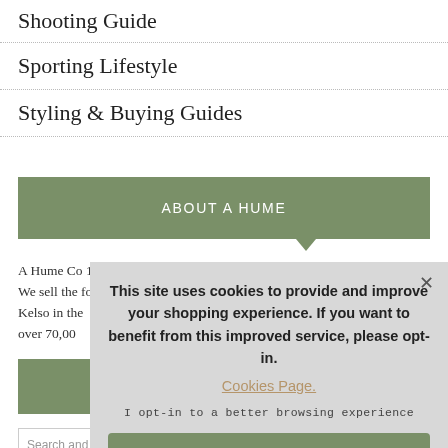Shooting Guide
Sporting Lifestyle
Styling & Buying Guides
ABOUT A HUME
A Hume Co... 1929.
We sell the... footwear a... Kelso in the... over 70,00...
This site uses cookies to provide and improve your shopping experience. If you want to benefit from this improved service, please opt-in.
Cookies Page.
I opt-in to a better browsing experience
ACCEPT COOKIES